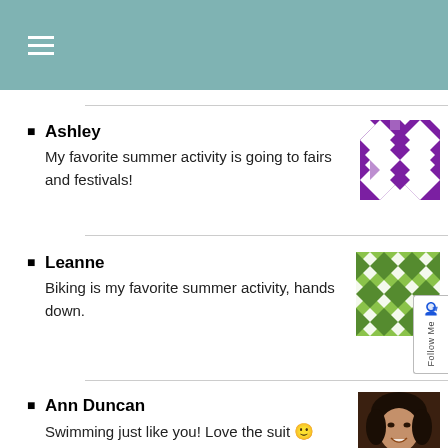≡ (hamburger menu)
Ashley
My favorite summer activity is going to fairs and festivals!
[Figure (illustration): Purple geometric quilt pattern avatar for Ashley]
Leanne
Biking is my favorite summer activity, hands down.
[Figure (illustration): Green geometric quilt pattern avatar for Leanne]
[Figure (illustration): Follow Me tab on right side]
Ann Duncan
Swimming just like you! Love the suit 🙂
[Figure (photo): Photo of Ann Duncan, a woman smiling]